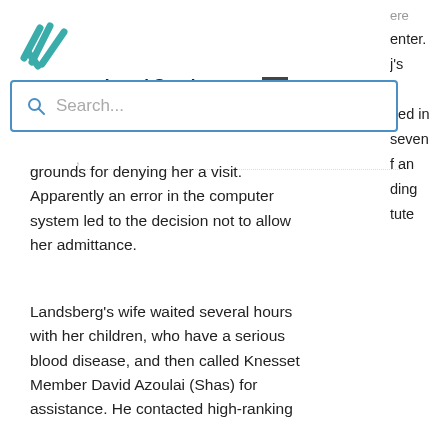[Figure (logo): Honenu Legal Services logo — teal/cyan overlapping checkmark strokes]
Honenu   Legal Services
enter. j's e ned in seven f an ding tute
grounds for denying her a visit. Apparently an error in the computer system led to the decision not to allow her admittance.
Landsberg's wife waited several hours with her children, who have a serious blood disease, and then called Knesset Member David Azoulai (Shas) for assistance. He contacted high-ranking